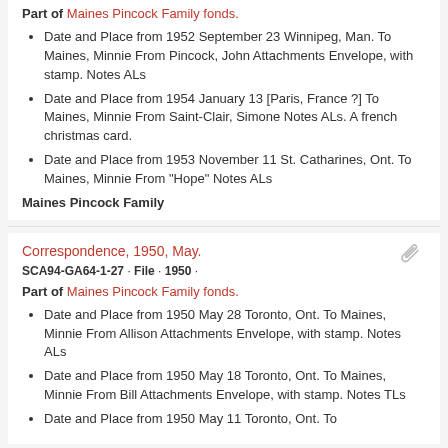Part of Maines Pincock Family fonds.
Date and Place from 1952 September 23 Winnipeg, Man. To Maines, Minnie From Pincock, John Attachments Envelope, with stamp. Notes ALs
Date and Place from 1954 January 13 [Paris, France ?] To Maines, Minnie From Saint-Clair, Simone Notes ALs. A french christmas card.
Date and Place from 1953 November 11 St. Catharines, Ont. To Maines, Minnie From "Hope" Notes ALs
Maines Pincock Family
Correspondence, 1950, May.
SCA94-GA64-1-27 · File · 1950 ·
Part of Maines Pincock Family fonds.
Date and Place from 1950 May 28 Toronto, Ont. To Maines, Minnie From Allison Attachments Envelope, with stamp. Notes ALs
Date and Place from 1950 May 18 Toronto, Ont. To Maines, Minnie From Bill Attachments Envelope, with stamp. Notes TLs
Date and Place from 1950 May 11 Toronto, Ont. To